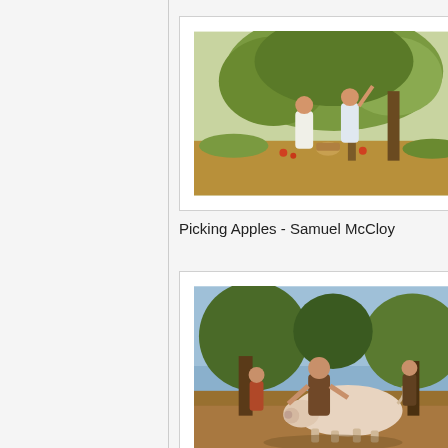[Figure (illustration): Painting showing two children picking apples under a tree in a pastoral outdoor scene. One child in white dress stands while another reaches up into the tree branches. A basket is visible on the ground.]
Picking Apples - Samuel McCloy
[Figure (illustration): Painting showing a man ringing a large pig in a rural outdoor setting. Several figures are present, with trees in the background and a dramatic sky. The pig is large and white/pink.]
Ringing the Pig - William